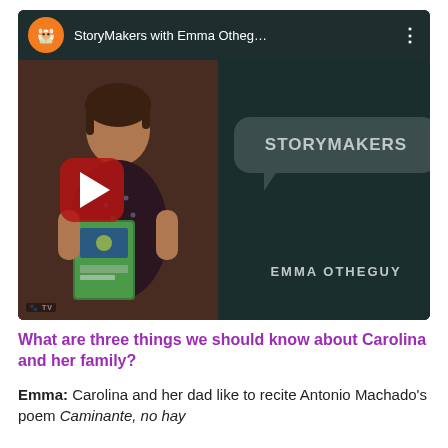[Figure (screenshot): YouTube video thumbnail for StoryMakers with Emma Otheg... showing a woman holding a book on the left panel and a speech bubble with 'STORYMAKERS' and 'EMMA OTHEGUY' text on the right panel on a dark teal background. A red play button is centered over the image.]
What are three things we should know about Carolina and her family?
Emma: Carolina and her dad like to recite Antonio Machado's poem Caminante, no hay